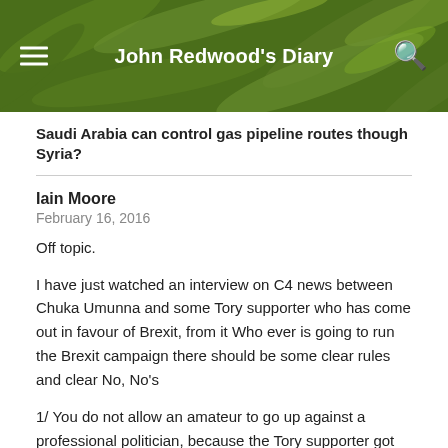John Redwood's Diary
Saudi Arabia can control gas pipeline routes though Syria?
Iain Moore
February 16, 2016
Off topic.
I have just watched an interview on C4 news between Chuka Umunna and some Tory supporter who has come out in favour of Brexit, from it Who ever is going to run the Brexit campaign there should be some clear rules and clear No, No's
1/ You do not allow an amateur to go up against a professional politician, because the Tory supporter got talked off the news